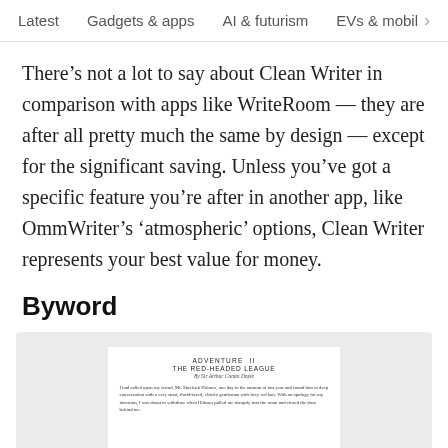Latest   Gadgets & apps   AI & futurism   EVs & mobil  >
There’s not a lot to say about Clean Writer in comparison with apps like WriteRoom — they are after all pretty much the same by design — except for the significant saving. Unless you’ve got a specific feature you’re after in another app, like OmmWriter’s ‘atmospheric’ options, Clean Writer represents your best value for money.
Byword
[Figure (screenshot): Screenshot of Byword app showing a document with 'ADVENTURE II THE RED-HEADED LEAGUE By Sir Arthur Conan Doyle' as heading and body text beginning 'I had called upon my friend, Mr. Sherlock Holmes, one day in the autumn of last year and found him in deep conversation with a very stout, florid-faced, elderly gentleman with fiery red hair. With an apology for my intrusion, I was about to withdraw when Holmes pulled me abruptly into the room and closed the door behind me.' with a blue bar at the bottom.]